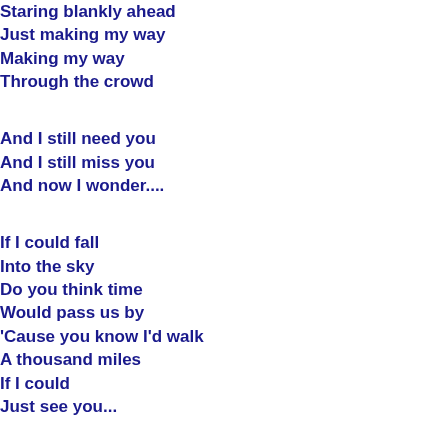Staring blankly ahead
Just making my way
Making my way
Through the crowd

And I still need you
And I still miss you
And now I wonder....

If I could fall
Into the sky
Do you think time
Would pass us by
'Cause you know I'd walk
A thousand miles
If I could
Just see you...

If I could fall
Into the sky
Do you think time
Would pass me by
'Cause you know I'd walk
A thousand miles
If I could
Just see you
If I could
Just hold you
Tonight